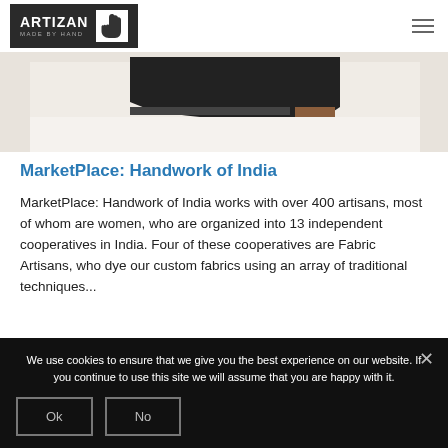ARTIZAN MADE BY HAND
[Figure (photo): Partial image showing the bottom of a shoe/boot on a white background — cropped at top]
MarketPlace: Handwork of India
MarketPlace: Handwork of India works with over 400 artisans, most of whom are women, who are organized into 13 independent cooperatives in India. Four of these cooperatives are Fabric Artisans, who dye our custom fabrics using an array of traditional techniques...
[Read more]
We use cookies to ensure that we give you the best experience on our website. If you continue to use this site we will assume that you are happy with it.